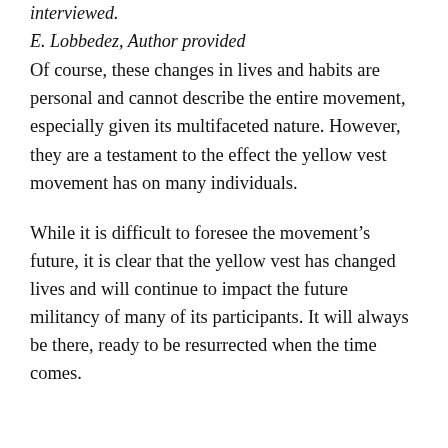interviewed.
E. Lobbedez, Author provided
Of course, these changes in lives and habits are personal and cannot describe the entire movement, especially given its multifaceted nature. However, they are a testament to the effect the yellow vest movement has on many individuals.
While it is difficult to foresee the movement’s future, it is clear that the yellow vest has changed lives and will continue to impact the future militancy of many of its participants. It will always be there, ready to be resurrected when the time comes.